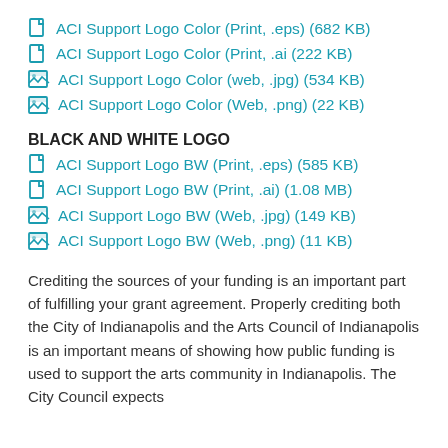ACI Support Logo Color (Print, .eps) (682 KB)
ACI Support Logo Color (Print, .ai (222 KB)
ACI Support Logo Color (web, .jpg) (534 KB)
ACI Support Logo Color (Web, .png) (22 KB)
BLACK AND WHITE LOGO
ACI Support Logo BW (Print, .eps) (585 KB)
ACI Support Logo BW (Print, .ai) (1.08 MB)
ACI Support Logo BW (Web, .jpg) (149 KB)
ACI Support Logo BW (Web, .png) (11 KB)
Crediting the sources of your funding is an important part of fulfilling your grant agreement. Properly crediting both the City of Indianapolis and the Arts Council of Indianapolis is an important means of showing how public funding is used to support the arts community in Indianapolis. The City Council expects